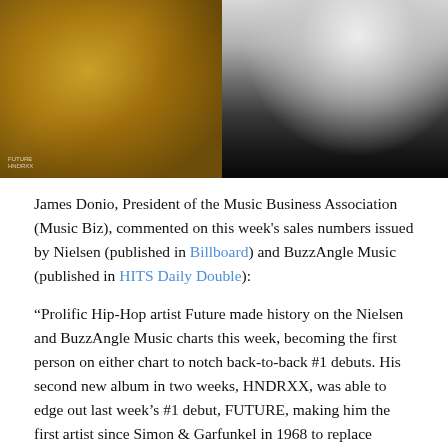[Figure (photo): Two album cover images side by side: left is a golden/amber toned image (appears to be FUTURE album cover), right is a black and white image of a person (appears to be HNDRXX album cover)]
James Donio, President of the Music Business Association (Music Biz), commented on this week's sales numbers issued by Nielsen (published in Billboard) and BuzzAngle Music (published in HITS Daily Double):
“Prolific Hip-Hop artist Future made history on the Nielsen and BuzzAngle Music charts this week, becoming the first person on either chart to notch back-to-back #1 debuts. His second new album in two weeks, HNDRXX, was able to edge out last week’s #1 debut, FUTURE, making him the first artist since Simon & Garfunkel in 1968 to replace himself at the chart’s summit (when non-debuts are factored in) and the first